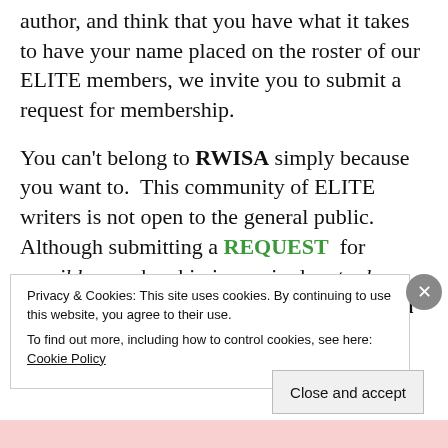author, and think that you have what it takes to have your name placed on the roster of our ELITE members, we invite you to submit a request for membership.
You can't belong to RWISA simply because you want to. This community of ELITE writers is not open to the general public. Although submitting a REQUEST for possible membership is required, actual membership into the society is by invitation only! Once it has been
Privacy & Cookies: This site uses cookies. By continuing to use this website, you agree to their use.
To find out more, including how to control cookies, see here: Cookie Policy
Close and accept